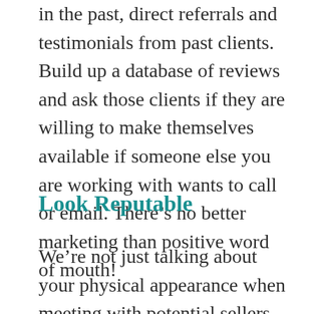in the past, direct referrals and testimonials from past clients. Build up a database of reviews and ask those clients if they are willing to make themselves available if someone else you are working with wants to call or email. There's no better marketing than positive word of mouth!
Look Reputable
We're not just talking about your physical appearance when meeting with potential sellers, which is also very important. We're